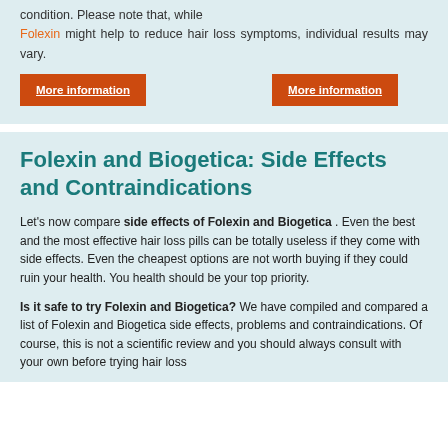condition. Please note that, while Folexin might help to reduce hair loss symptoms, individual results may vary.
More information | More information
Folexin and Biogetica: Side Effects and Contraindications
Let's now compare side effects of Folexin and Biogetica . Even the best and the most effective hair loss pills can be totally useless if they come with side effects. Even the cheapest options are not worth buying if they could ruin your health. You health should be your top priority.
Is it safe to try Folexin and Biogetica? We have compiled and compared a list of Folexin and Biogetica side effects, problems and contraindications. Of course, this is not a scientific review and you should always consult with your own before trying hair loss